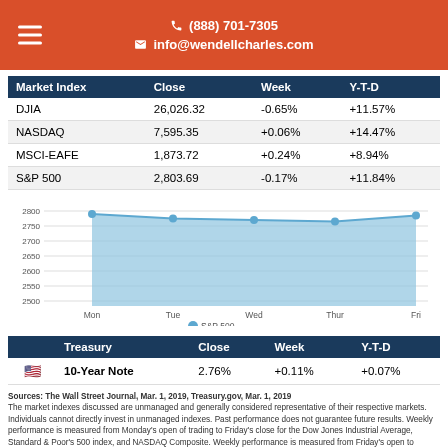(888) 701-7305  info@wendellcharles.com
| Market Index | Close | Week | Y-T-D |
| --- | --- | --- | --- |
| DJIA | 26,026.32 | -0.65% | +11.57% |
| NASDAQ | 7,595.35 | +0.06% | +14.47% |
| MSCI-EAFE | 1,873.72 | +0.24% | +8.94% |
| S&P 500 | 2,803.69 | -0.17% | +11.84% |
[Figure (area-chart): S&P 500]
|  | Treasury | Close | Week | Y-T-D |
| --- | --- | --- | --- | --- |
| 🇺🇸 | 10-Year Note | 2.76% | +0.11% | +0.07% |
Sources: The Wall Street Journal, Mar. 1, 2019, Treasury.gov, Mar. 1, 2019
The market indexes discussed are unmanaged and generally considered representative of their respective markets. Individuals cannot directly invest in unmanaged indexes. Past performance does not guarantee future results. Weekly performance is measured from Monday's open of trading to Friday's close for the Dow Jones Industrial Average, Standard & Poor's 500 index, and NASDAQ Composite. Weekly performance is measured from Friday's open to Thursday's close for MSCI-EAFE. U.S. Treasury Notes are guaranteed by the federal government as to the timely payment of principal and interest. However, if you sell a Treasury Note